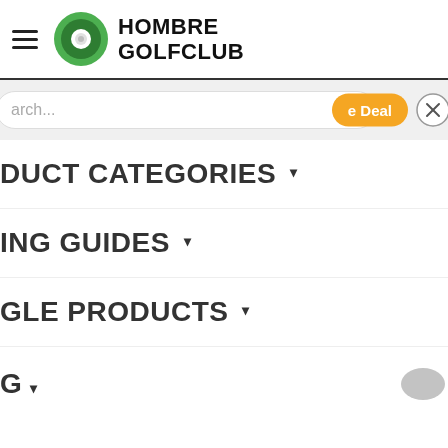[Figure (logo): Hombre Golfclub logo with green circle golf ball icon and bold black text HOMBRE GOLFCLUB]
[Figure (screenshot): Search bar with placeholder text 'arch...' and orange Deal button, with close X circle button]
DUCT CATEGORIES ▾
ING GUIDES ▾
GLE PRODUCTS ▾
G ▾